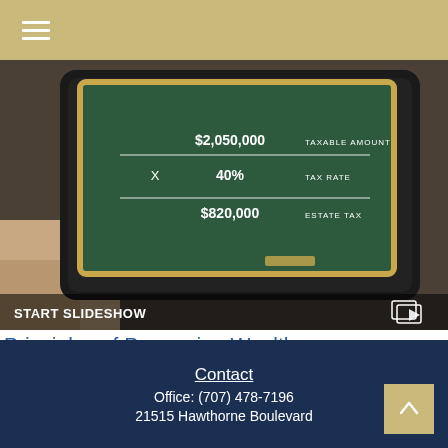Navigation header with hamburger menu icon
[Figure (screenshot): A tablet displaying a chalkboard graphic showing estate tax calculation: $2,050,000 TAXABLE AMOUNT × 40% TAX RATE = $820,000 ESTATE TAX. Overlaid with 'START SLIDESHOW' label and a slideshow play icon.]
Principles of Preserving Wealth
How federal estate taxes work, plus estate management documents and tactics.
Contact
Office: (707) 478-7196
21515 Hawthorne Boulevard